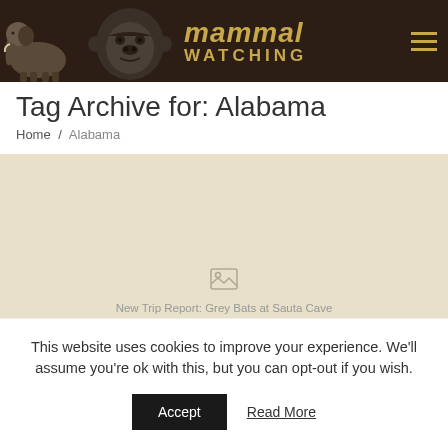mammal WATCHING
Tag Archive for: Alabama
Home / Alabama
[Figure (screenshot): Beige content area with placeholder image icon and faint text: New Trip Report: Grey Bats at Sauta Cave NWR, Alabama]
This website uses cookies to improve your experience. We'll assume you're ok with this, but you can opt-out if you wish.
Accept   Read More